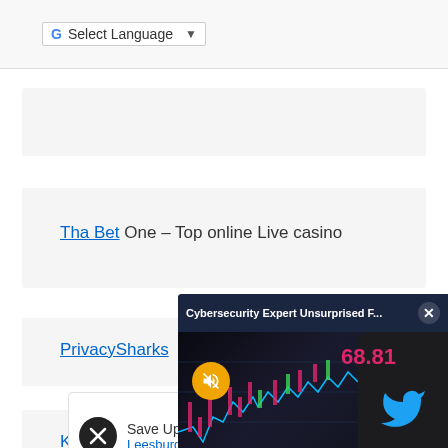[Figure (screenshot): Google Translate toolbar with 'Select Language' dropdown button]
[Figure (screenshot): Empty light gray card block]
Tha Bet One – Top online Live casino
PrivacySharks
Kub...
[Figure (screenshot): Advertisement with dark circular icon and 'Save Up... Leesburg...' text]
[Figure (screenshot): Video popup overlay: 'Cybersecurity Expert Unsurprised F...' with X close button, showing financial chart with stock number 68.81, mute button, and Twitter logo on phone mockup]